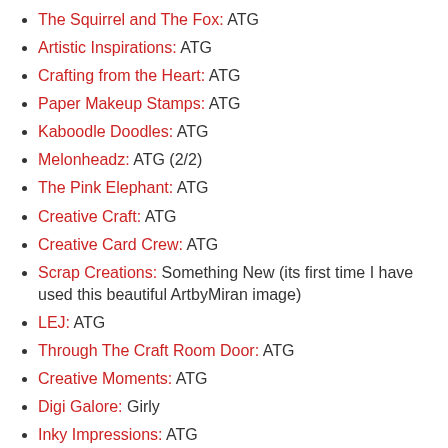The Squirrel and The Fox: ATG
Artistic Inspirations: ATG
Crafting from the Heart: ATG
Paper Makeup Stamps: ATG
Kaboodle Doodles: ATG
Melonheadz: ATG (2/2)
The Pink Elephant: ATG
Creative Craft: ATG
Creative Card Crew: ATG
Scrap Creations: Something New (its first time I have used this beautiful ArtbyMiran image)
LEJ: ATG
Through The Craft Room Door: ATG
Creative Moments: ATG
Digi Galore: Girly
Inky Impressions: ATG
Little Red Wagon: New Beginnings (its first time I have used this beautiful ArtbyMiran image)